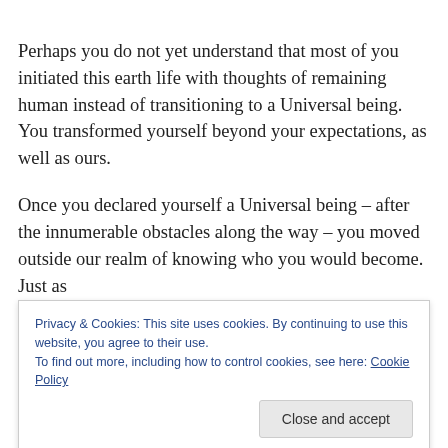Perhaps you do not yet understand that most of you initiated this earth life with thoughts of remaining human instead of transitioning to a Universal being. You transformed yourself beyond your expectations, as well as ours.
Once you declared yourself a Universal being – after the innumerable obstacles along the way – you moved outside our realm of knowing who you would become. Just as
Privacy & Cookies: This site uses cookies. By continuing to use this website, you agree to their use.
To find out more, including how to control cookies, see here: Cookie Policy
possibilities, you have transitioned beyond what we know